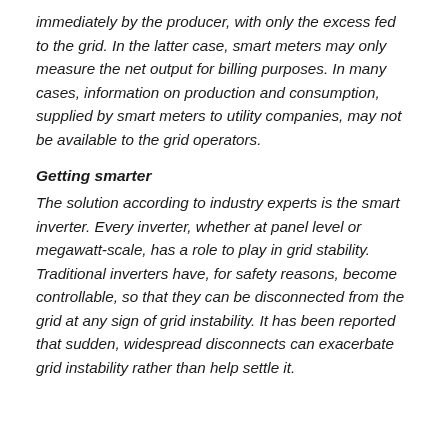immediately by the producer, with only the excess fed to the grid. In the latter case, smart meters may only measure the net output for billing purposes. In many cases, information on production and consumption, supplied by smart meters to utility companies, may not be available to the grid operators.
Getting smarter
The solution according to industry experts is the smart inverter. Every inverter, whether at panel level or megawatt-scale, has a role to play in grid stability. Traditional inverters have, for safety reasons, become controllable, so that they can be disconnected from the grid at any sign of grid instability. It has been reported that sudden, widespread disconnects can exacerbate grid instability rather than help settle it.